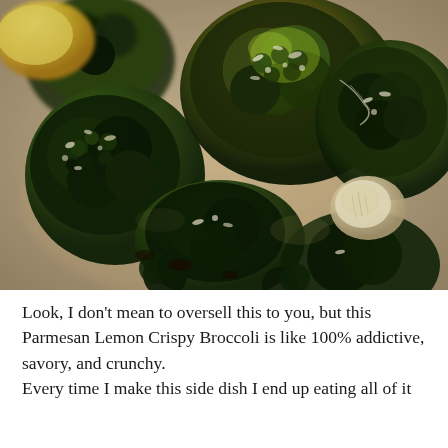[Figure (photo): Close-up photograph of roasted broccoli florets with parmesan cheese and lemon slices on a baking sheet, charred and crispy looking]
Look, I don't mean to oversell this to you, but this Parmesan Lemon Crispy Broccoli is like 100% addictive, savory, and crunchy.
Every time I make this side dish I end up eating all of it